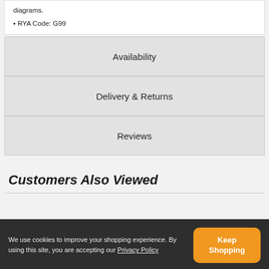diagrams.
• RYA Code: G99
Availability
Delivery & Returns
Reviews
Customers Also Viewed
We use cookies to improve your shopping experience. By using this site, you are accepting our Privacy Policy
Keep Shopping